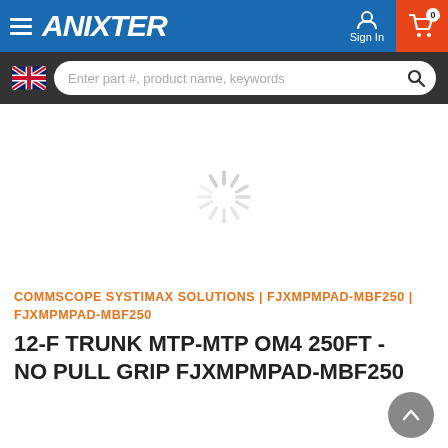ANIXTER — Sign In — Cart (0)
[Figure (screenshot): Anixter website navigation bar with hamburger menu, ANIXTER logo, Sign In icon, and cart icon with badge showing 0]
[Figure (screenshot): Search bar with UK flag icon and placeholder text 'Enter part #, product name, keywords' and a search magnifier button]
[Figure (screenshot): Loading spinner (circular progress indicator) in center of product image area]
COMMSCOPE SYSTIMAX SOLUTIONS | FJXMPMPAD-MBF250 | FJXMPMPAD-MBF250
12-F TRUNK MTP-MTP OM4 250FT - NO PULL GRIP FJXMPMPAD-MBF250